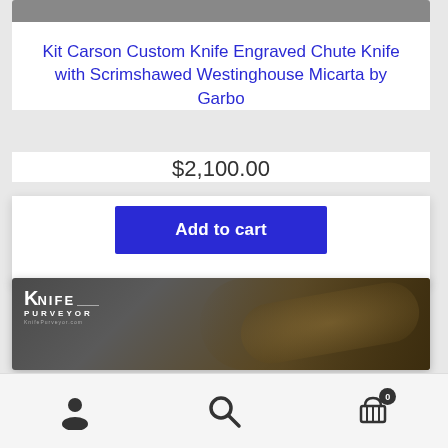[Figure (photo): Top portion of a product card showing a dark knife image (cropped at top)]
Kit Carson Custom Knife Engraved Chute Knife with Scrimshawed Westinghouse Micarta by Garbo
$2,100.00
Add to cart
[Figure (photo): Knife Purveyor website banner showing a knife with decorative handle against dark background]
[Figure (illustration): Bottom navigation bar with user account icon, search icon, and shopping cart icon with 0 badge]